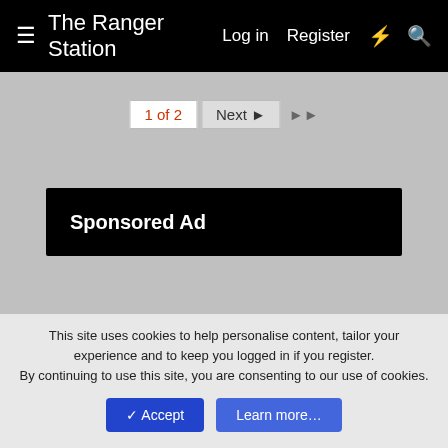≡ The Ranger Station  Log in  Register
1 of 2  Next ▶  ▶▶
[Figure (other): Sponsored Ad banner (black background)]
[Figure (other): Sponsored Ad banner (black background)]
< Tags
✎ TRS Style - White With Black
MaverickTruckin.com  BroncoCorral.com  BlueOvalTrucks.com
Forum Staff  Advertise / Sell Here  Contact us  Terms and rules
Privacy policy  Help  Home  [RSS]
Forum software by XenForo® © 2010-2020 XenForo Ltd.
This site uses cookies to help personalise content, tailor your experience and to keep you logged in if you register.
By continuing to use this site, you are consenting to our use of cookies.
[Accept]  [Learn more...]